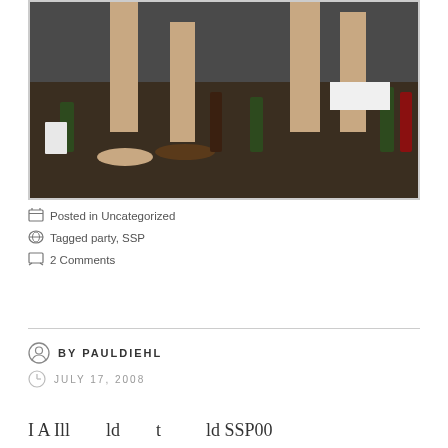[Figure (photo): Photo showing legs and feet of people near beer bottles on a dark floor, one person wearing flip flops]
Posted in Uncategorized
Tagged party, SSP
2 Comments
BY PAULDIEHL
JULY 17, 2008
I A Ill ld t ld SSP00